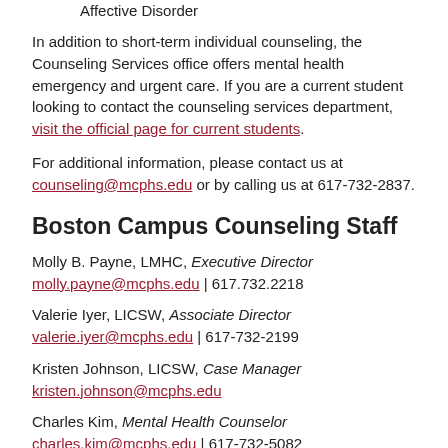Affective Disorder
In addition to short-term individual counseling, the Counseling Services office offers mental health emergency and urgent care. If you are a current student looking to contact the counseling services department, visit the official page for current students.
For additional information, please contact us at counseling@mcphs.edu or by calling us at 617-732-2837.
Boston Campus Counseling Staff
Molly B. Payne, LMHC, Executive Director
molly.payne@mcphs.edu | 617.732.2218
Valerie Iyer, LICSW, Associate Director
valerie.iyer@mcphs.edu | 617-732-2199
Kristen Johnson, LICSW, Case Manager
kristen.johnson@mcphs.edu
Charles Kim, Mental Health Counselor
charles.kim@mcphs.edu | 617-732-5082
Julie Jung, LMHC, Mental Health Counselor